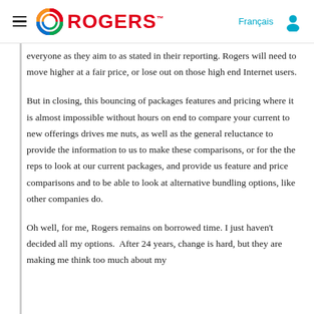Rogers | Français
everyone as they aim to as stated in their reporting. Rogers will need to move higher at a fair price, or lose out on those high end Internet users.
But in closing, this bouncing of packages features and pricing where it is almost impossible without hours on end to compare your current to new offerings drives me nuts, as well as the general reluctance to provide the information to us to make these comparisons, or for the the reps to look at our current packages, and provide us feature and price comparisons and to be able to look at alternative bundling options, like other companies do.
Oh well, for me, Rogers remains on borrowed time. I just haven't decided all my options. After 24 years, change is hard, but they are making me think too much about my